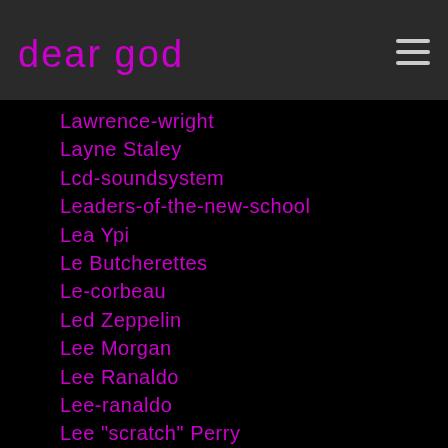dear god
Lawrence-wright
Layne Staley
Lcd-soundsystem
Leaders-of-the-new-school
Lea Ypi
Le Butcherettes
Le-corbeau
Led Zeppelin
Lee Morgan
Lee Ranaldo
Lee-ranaldo
Lee "scratch" Perry
Lee Scratch Perry
Lee-strasberg
Lemmy Kilmister
Lemmy-kilmister